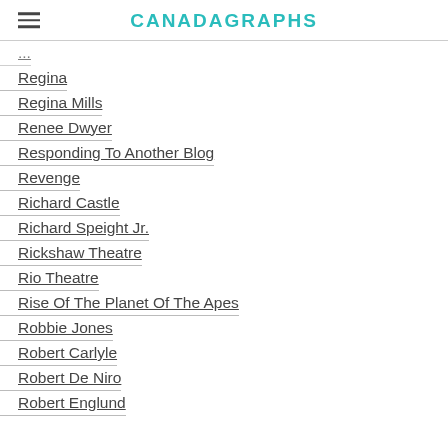CANADAGRAPHS
Regina
Regina Mills
Renee Dwyer
Responding To Another Blog
Revenge
Richard Castle
Richard Speight Jr.
Rickshaw Theatre
Rio Theatre
Rise Of The Planet Of The Apes
Robbie Jones
Robert Carlyle
Robert De Niro
Robert Englund